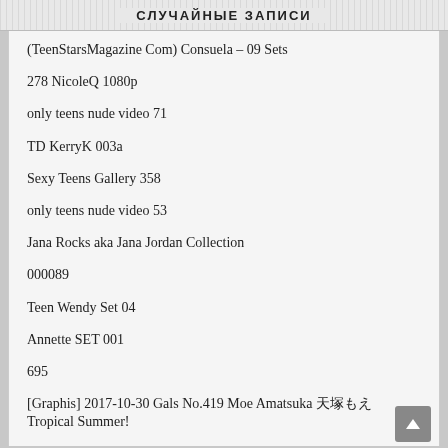СЛУЧАЙНЫЕ ЗАПИСИ
(TeenStarsMagazine Com) Consuela – 09 Sets
278 NicoleQ 1080p
only teens nude video 71
TD KerryK 003a
Sexy Teens Gallery 358
only teens nude video 53
Jana Rocks aka Jana Jordan Collection
000089
Teen Wendy Set 04
Annette SET 001
695
[Graphis] 2017-10-30 Gals No.419 Moe Amatsuka 天塚もえ Tropical Summer!